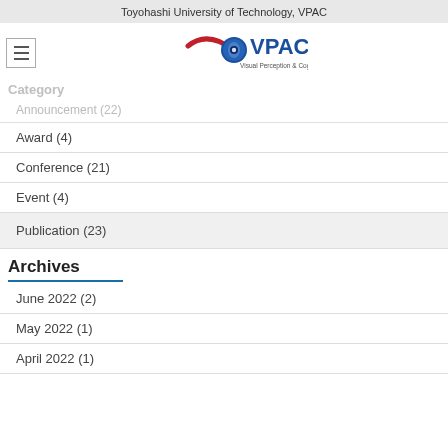Toyohashi University of Technology, VPAC
[Figure (logo): VPAC (Visual Perception & Cognition) logo with stylized eye and red swoosh]
Category
Announcement (22)
Award (4)
Conference (21)
Event (4)
Publication (23)
Archives
June 2022 (2)
May 2022 (1)
April 2022 (1)